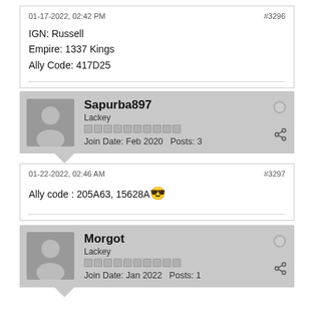01-17-2022, 02:42 PM
#3296
IGN: Russell
Empire: 1337 Kings
Ally Code: 417D25
Sapurba897
Lackey
Join Date: Feb 2020  Posts: 3
01-22-2022, 02:46 AM
#3297
Ally code : 205A63, 15628A 😎
Morgot
Lackey
Join Date: Jan 2022  Posts: 1